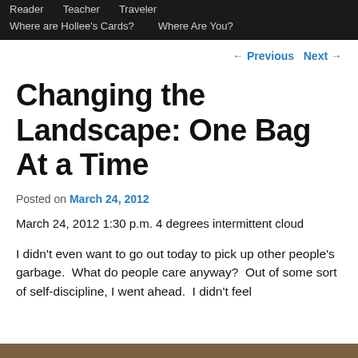Reader  Teacher  Traveler  Where are Hollee's Cards?  Where Are You?
← Previous  Next →
Changing the Landscape: One Bag At a Time
Posted on March 24, 2012
March 24, 2012 1:30 p.m. 4 degrees intermittent cloud
I didn't even want to go out today to pick up other people's garbage.  What do people care anyway?  Out of some sort of self-discipline, I went ahead.  I didn't feel